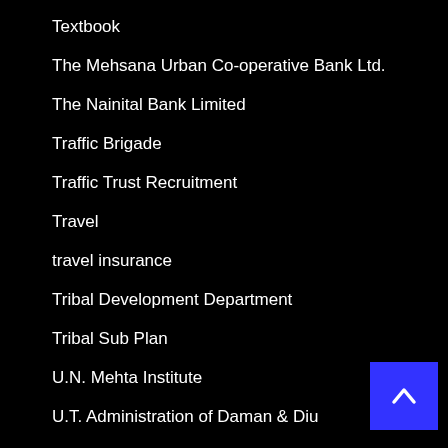Textbook
The Mehsana Urban Co-operative Bank Ltd.
The Nainital Bank Limited
Traffic Brigade
Traffic Trust Recruitment
Travel
travel insurance
Tribal Development Department
Tribal Sub Plan
U.N. Mehta Institute
U.T. Administration of Daman & Diu
UCO Bank
UGC NTA
UGVCL
UHC